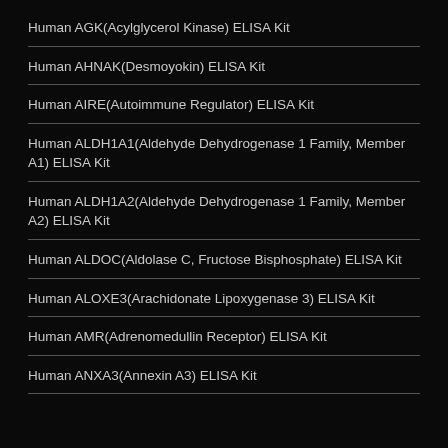Human AGK(Acylglycerol Kinase) ELISA Kit
Human AHNAK(Desmoyokin) ELISA Kit
Human AIRE(Autoimmune Regulator) ELISA Kit
Human ALDH1A1(Aldehyde Dehydrogenase 1 Family, Member A1) ELISA Kit
Human ALDH1A2(Aldehyde Dehydrogenase 1 Family, Member A2) ELISA Kit
Human ALDOC(Aldolase C, Fructose Bisphosphate) ELISA Kit
Human ALOXE3(Arachidonate Lipoxygenase 3) ELISA Kit
Human AMR(Adrenomedullin Receptor) ELISA Kit
Human ANXA3(Annexin A3) ELISA Kit